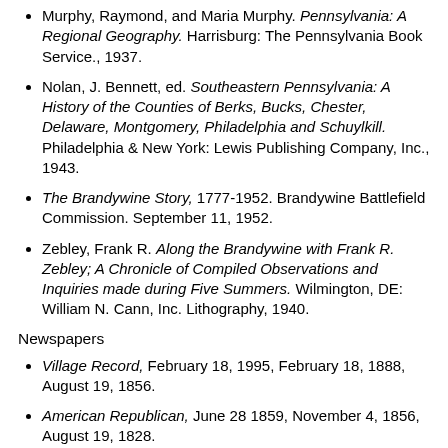Murphy, Raymond, and Maria Murphy. Pennsylvania: A Regional Geography. Harrisburg: The Pennsylvania Book Service., 1937.
Nolan, J. Bennett, ed. Southeastern Pennsylvania: A History of the Counties of Berks, Bucks, Chester, Delaware, Montgomery, Philadelphia and Schuylkill. Philadelphia & New York: Lewis Publishing Company, Inc., 1943.
The Brandywine Story, 1777-1952. Brandywine Battlefield Commission. September 11, 1952.
Zebley, Frank R. Along the Brandywine with Frank R. Zebley; A Chronicle of Compiled Observations and Inquiries made during Five Summers. Wilmington, DE: William N. Cann, Inc. Lithography, 1940.
Newspapers
Village Record, February 18, 1995, February 18, 1888, August 19, 1856.
American Republican, June 28 1859, November 4, 1856, August 19, 1828.
Chester County Times, January 2, 1858.